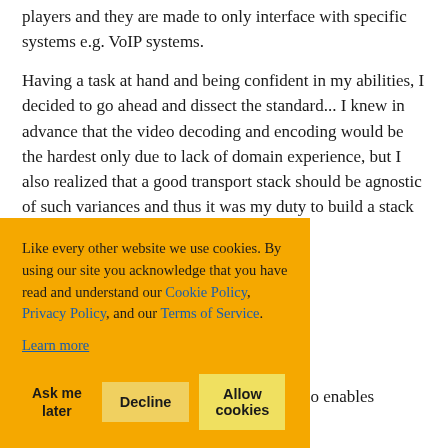players and they are made to only interface with specific systems e.g. VoIP systems.
Having a task at hand and being confident in my abilities, I decided to go ahead and dissect the standard... I knew in advance that the video decoding and encoding would be the hardest only due to lack of domain experience, but I also realized that a good transport stack should be agnostic of such variances and thus it was my duty to build a stack that would be [obscured by overlay] the transport [obscured] anaged Code
[obscured] s the Real Time [obscured] here everything [obscured] o get the details [obscured] e format and how it will be sent back to the client. It also enables
Like every other website we use cookies. By using our site you acknowledge that you have read and understand our Cookie Policy, Privacy Policy, and our Terms of Service.
Learn more